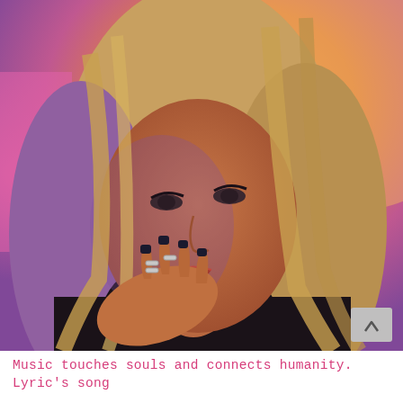[Figure (photo): Close-up photo of a woman with long blonde hair, wearing dark nail polish and silver rings, resting her chin on her hand. The background is warm orange and pink tones, suggesting an event or interview setting. There is a grey scroll-up button in the bottom-right corner of the image.]
Music touches souls and connects humanity. Lyric's song